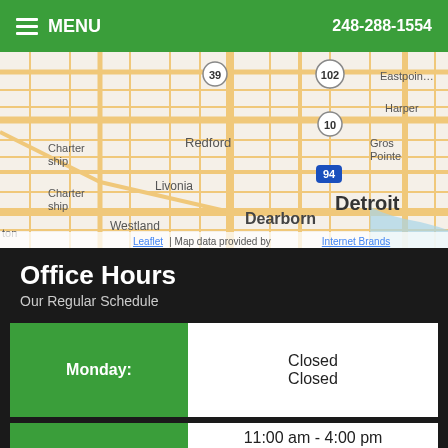MENU  248-288-1554
[Figure (map): Street map showing Detroit metro area including Redford, Livonia, Westland, Dearborn, Detroit, Charter Township, Eastpoint, Harper, Grosse Pointe. Route markers 39, 102, 10, 94 visible. Map data provided by Internet Brands.]
Office Hours
Our Regular Schedule
| Day | Hours |
| --- | --- |
| Monday: | Closed
Closed |
| Tuesday: | 11:00 am - 4:00 pm
[partially visible] |